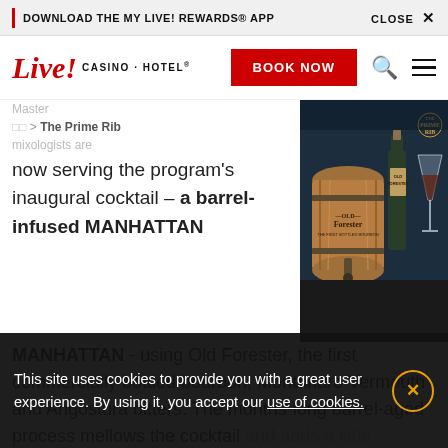DOWNLOAD THE MY LIVE! REWARDS® APP   CLOSE ✕
Live! CASINO · HOTEL   BOOK NOW
Master  □□ > The Prime Rib mixologists are now serving the program's inaugural cocktail – a barrel-infused MANHATTAN - using Old Forester, the first commercially bottled bourbon, Montanaro Vermouth and Angostura bitters. The months-long barrel-aged process mellows the cocktail and adds a little a and caramel.
[Figure (photo): Photo of Old Forester bourbon barrel, Old Forester bottle, and a cocktail martini glass at The Prime Rib Casino & Hotel]
This site uses cookies to provide you with a great user experience. By using it, you accept our use of cookies.